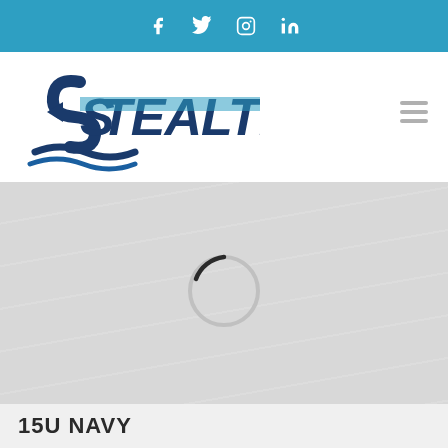[Figure (screenshot): Blue top navigation bar with social media icons: Facebook, Twitter, Instagram, LinkedIn]
[Figure (logo): Stealth brand logo with stylized S arrow and wave marks, dark navy and blue text reading STEALTH]
[Figure (other): Gray content area with subtle wave texture and a loading spinner circle in the center]
15U NAVY